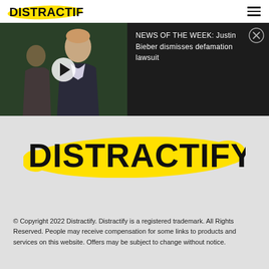DISTRACTIFY
[Figure (screenshot): Video player thumbnail showing a person in a dark suit with a play button overlay, and text panel reading NEWS OF THE WEEK: Justin Bieber dismisses defamation lawsuit with a close (X) button]
DISTRACTIFY
© Copyright 2022 Distractify. Distractify is a registered trademark. All Rights Reserved. People may receive compensation for some links to products and services on this website. Offers may be subject to change without notice.